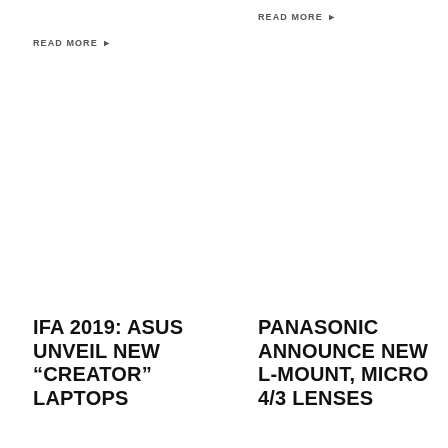READ MORE ▶
READ MORE ▶
IFA 2019: ASUS UNVEIL NEW “CREATOR” LAPTOPS
PANASONIC ANNOUNCE NEW L-MOUNT, MICRO 4/3 LENSES